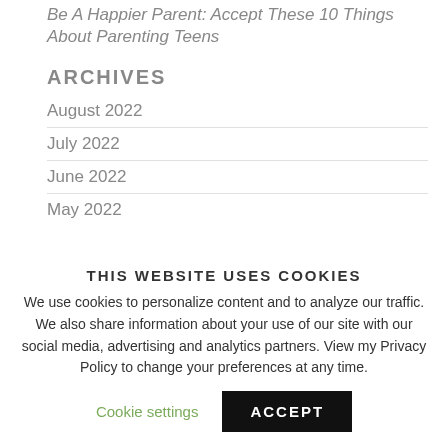Be A Happier Parent: Accept These 10 Things About Parenting Teens
ARCHIVES
August 2022
July 2022
June 2022
May 2022
THIS WEBSITE USES COOKIES
We use cookies to personalize content and to analyze our traffic. We also share information about your use of our site with our social media, advertising and analytics partners. View my Privacy Policy to change your preferences at any time.
Cookie settings
ACCEPT